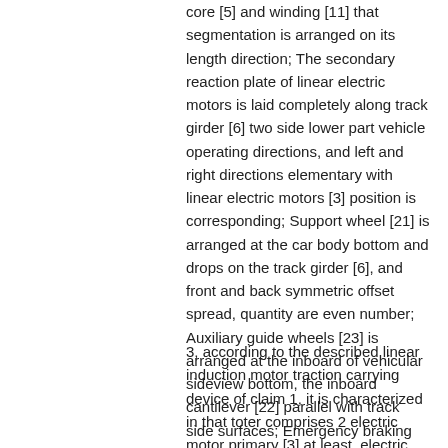core [5] and winding [11] that segmentation is arranged on its length direction; The secondary reaction plate of linear electric motors is laid completely along track girder [6] two side lower part vehicle operating directions, and left and right directions elementary with linear electric motors [3] position is corresponding; Support wheel [21] is arranged at the car body bottom and drops on the track girder [6], and front and back symmetric offset spread, quantity are even number; Auxiliary guide wheels [23] is arranged at the inboard of vehicular sideview bottom, the inboard cantilever [22] parallel with track side surfaces; Emergency braking slide block [24] is a kind of device that can stretch, and auxiliary guide wheels [23] is positioned at same horizontal surface, and is installed on the inboard of same cantilever [22]; Both stagger emergency braking slide block [24] and auxiliary guide wheels [23] along the longitudinal direction of car direction, laterally with vehicle center line symmetric offset spread on the cantilever [22] of vehicle both sides; Track column [26] plays a supportive role.
3, according to the described linear induction motor traction carrying device of claim 1, it is characterized in that toter comprises 2 electric motor primary [3] at least, electric motor primary [3] is arranged on both front and